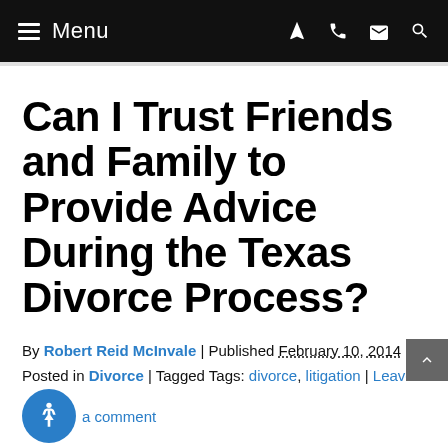Menu
Can I Trust Friends and Family to Provide Advice During the Texas Divorce Process?
By Robert Reid McInvale | Published February 10, 2014 | Posted in Divorce | Tagged Tags: divorce, litigation | Leave a comment
I have helped many individuals who come to me with any